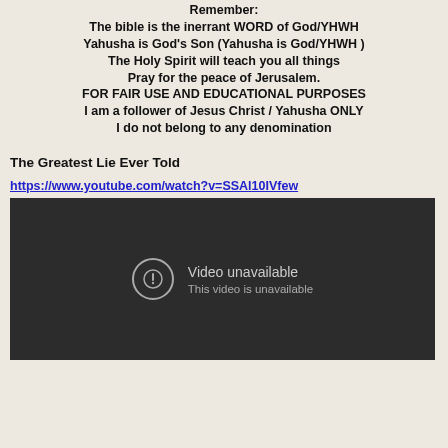Remember:
The bible is the inerrant WORD of God/YHWH
Yahusha is God's Son (Yahusha is God/YHWH )
The Holy Spirit will teach you all things
Pray for the peace of Jerusalem.
FOR FAIR USE AND EDUCATIONAL PURPOSES
I am a follower of Jesus Christ / Yahusha ONLY
I do not belong to any denomination
The Greatest Lie Ever Told
https://www.youtube.com/watch?v=SSAl10IVfew
[Figure (screenshot): Embedded YouTube video player showing 'Video unavailable - This video is unavailable' message on a dark background.]